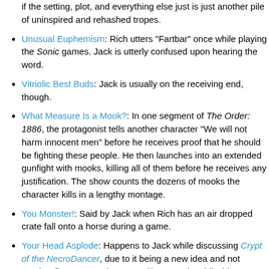if the setting, plot, and everything else just is just another pile of uninspired and rehashed tropes.
Unusual Euphemism: Rich utters "Fartbar" once while playing the Sonic games. Jack is utterly confused upon hearing the word.
Vitriolic Best Buds: Jack is usually on the receiving end, though.
What Measure Is a Mook?: In one segment of The Order: 1886, the protagonist tells another character "We will not harm innocent men" before he receives proof that he should be fighting these people. He then launches into an extended gunfight with mooks, killing all of them before he receives any justification. The show counts the dozens of mooks the character kills in a lengthy montage.
You Monster!: Said by Jack when Rich has an air dropped crate fall onto a horse during a game.
Your Head Asplode: Happens to Jack while discussing Crypt of the NecroDancer, due to it being a new idea and not another first-person shooter and/or sequel. Oddly, his...